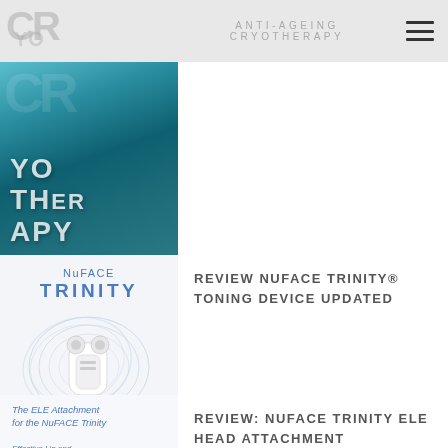ANTI-AGEING CRYOTHERAPY
[Figure (photo): Cryotherapy themed image with THERAPY text overlay on teal/blue water background]
REVIEW NUFACE TRINITY® TONING DEVICE UPDATED
[Figure (photo): NuFACE TRINITY logo with toning device product image showing two spherical probes, surrounded by blue swirl design]
REVIEW: NUFACE TRINITY ELE HEAD ATTACHMENT
[Figure (photo): The ELE Attachment for the NuFACE Trinity - Effective Lip and Eye Attachment product image with text overlay]